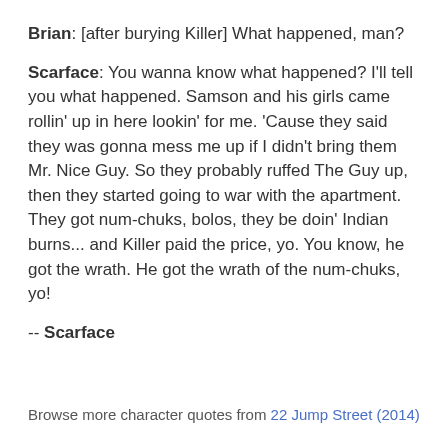Brian: [after burying Killer] What happened, man?
Scarface: You wanna know what happened? I'll tell you what happened. Samson and his girls came rollin' up in here lookin' for me. 'Cause they said they was gonna mess me up if I didn't bring them Mr. Nice Guy. So they probably ruffed The Guy up, then they started going to war with the apartment. They got num-chuks, bolos, they be doin' Indian burns... and Killer paid the price, yo. You know, he got the wrath. He got the wrath of the num-chuks, yo!
-- Scarface
Browse more character quotes from 22 Jump Street (2014)